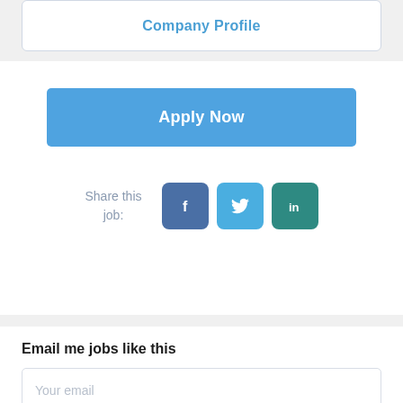Company Profile
Apply Now
Share this job:
[Figure (other): Social share icons: Facebook, Twitter, LinkedIn]
Email me jobs like this
Your email